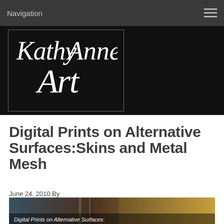Navigation
[Figure (logo): KathyAnne Art logo in white handwritten script on black background, inside a white-bordered box]
Digital Prints on Alternative Surfaces:Skins and Metal Mesh
June 24, 2010 By
[Figure (photo): Close-up photo of digital prints on alternative surfaces (metal mesh texture visible), with caption text 'Digital Prints on Alternative Surfaces:' overlaid at the bottom]